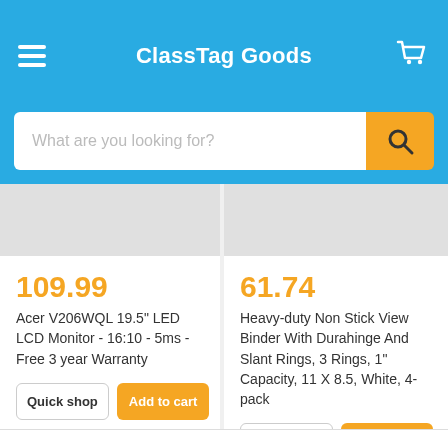ClassTag Goods
What are you looking for?
109.99
Acer V206WQL 19.5" LED LCD Monitor - 16:10 - 5ms - Free 3 year Warranty
61.74
Heavy-duty Non Stick View Binder With Durahinge And Slant Rings, 3 Rings, 1" Capacity, 11 X 8.5, White, 4-pack